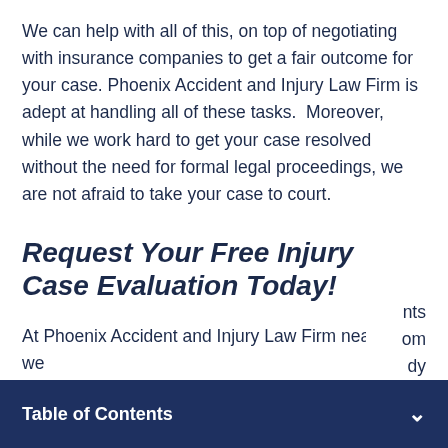We can help with all of this, on top of negotiating with insurance companies to get a fair outcome for your case. Phoenix Accident and Injury Law Firm is adept at handling all of these tasks.  Moreover, while we work hard to get your case resolved without the need for formal legal proceedings, we are not afraid to take your case to court.
Request Your Free Injury Case Evaluation Today!
At Phoenix Accident and Injury Law Firm near you, we
Table of Contents